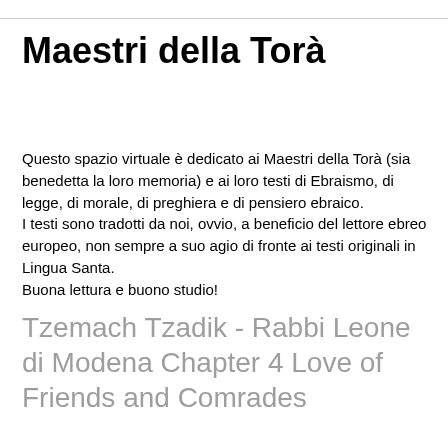Maestri della Torà
Questo spazio virtuale è dedicato ai Maestri della Torà (sia benedetta la loro memoria) e ai loro testi di Ebraismo, di legge, di morale, di preghiera e di pensiero ebraico.
I testi sono tradotti da noi, ovvio, a beneficio del lettore ebreo europeo, non sempre a suo agio di fronte ai testi originali in Lingua Santa.
Buona lettura e buono studio!
Tzemach Tzadik - Rabbi Leone di Modena Chapter 4 Love of Friends and Comrades